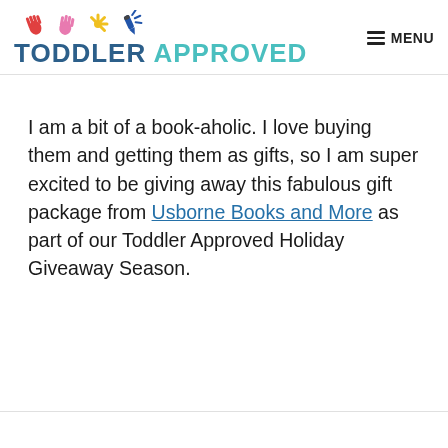TODDLER APPROVED | MENU
I am a bit of a book-aholic. I love buying them and getting them as gifts, so I am super excited to be giving away this fabulous gift package from Usborne Books and More as part of our Toddler Approved Holiday Giveaway Season.